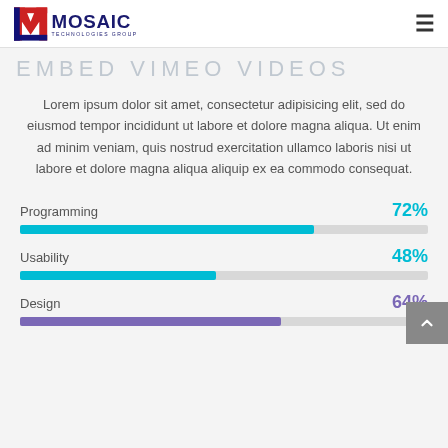Mosaic Technologies Group
EMBED VIMEO VIDEOS
Lorem ipsum dolor sit amet, consectetur adipisicing elit, sed do eiusmod tempor incididunt ut labore et dolore magna aliqua. Ut enim ad minim veniam, quis nostrud exercitation ullamco laboris nisi ut labore et dolore magna aliqua aliquip ex ea commodo consequat.
[Figure (bar-chart): Skills]